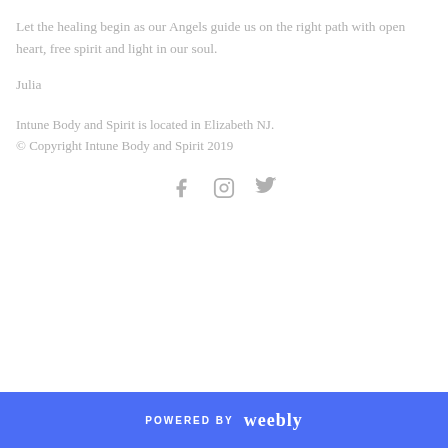Let the healing begin as our Angels guide us on the right path with open heart, free spirit and light in our soul.
Julia
Intune Body and Spirit is located in Elizabeth NJ.
© Copyright Intune Body and Spirit 2019
[Figure (infographic): Three social media icons: Facebook (f), Instagram (camera/square), and Twitter (bird), displayed in gray]
POWERED BY weebly